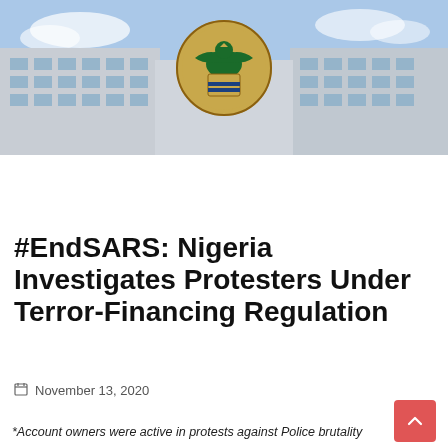[Figure (photo): Photograph of a large government building (Central Bank of Nigeria headquarters) with a blue sky background, and a green eagle emblem/logo centered over the building facade.]
#EndSARS: Nigeria Investigates Protesters Under Terror-Financing Regulation
November 13, 2020
*Account owners were active in protests against Police brutality